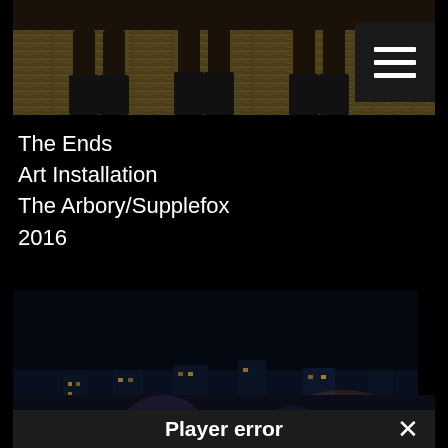[Figure (photo): Top portion of art installation photo showing legs and feet of performers/figures on ground covered with straw/hay, with hamburger menu button overlay in top right]
The Ends
Art Installation
The Arbory/Supplefox
2016
[Figure (photo): Night photo of glowing inflatable art sculptures - one pink/peach colored and one blue/white colored - positioned outdoors near a waterfront with city lights in background. A person with pink hair stands between them.]
[Figure (photo): Partial bottom image showing another night scene, partially obscured by player error overlay]
Player error